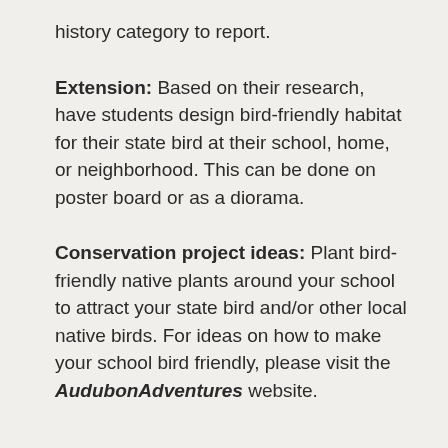history category to report.
Extension: Based on their research, have students design bird-friendly habitat for their state bird at their school, home, or neighborhood. This can be done on poster board or as a diorama.
Conservation project ideas: Plant bird-friendly native plants around your school to attract your state bird and/or other local native birds. For ideas on how to make your school bird friendly, please visit the AudubonAdventures website.
Resources
Thinking Map